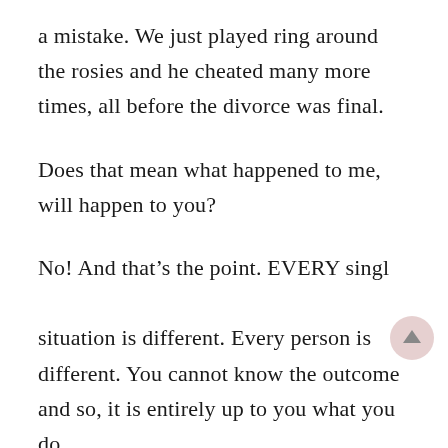a mistake. We just played ring around the rosies and he cheated many more times, all before the divorce was final.
Does that mean what happened to me, will happen to you?
No! And that's the point. EVERY single situation is different. Every person is different. You cannot know the outcome and so, it is entirely up to you what you do.